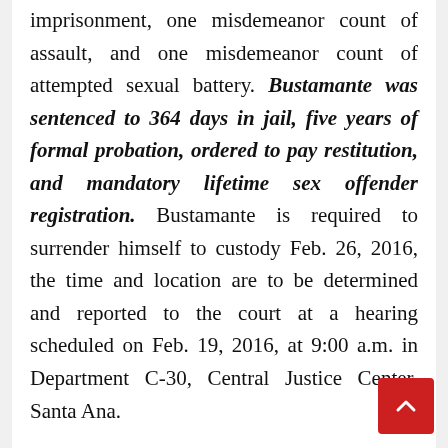imprisonment, one misdemeanor count of assault, and one misdemeanor count of attempted sexual battery. Bustamante was sentenced to 364 days in jail, five years of formal probation, ordered to pay restitution, and mandatory lifetime sex offender registration. Bustamante is required to surrender himself to custody Feb. 26, 2016, the time and location are to be determined and reported to the court at a hearing scheduled on Feb. 19, 2016, at 9:00 a.m. in Department C-30, Central Justice Center, Santa Ana.